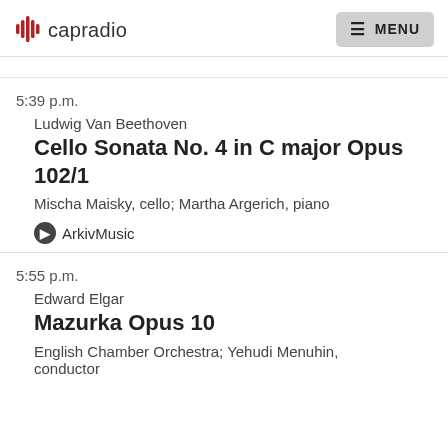capradio | MENU
5:39 p.m.
Ludwig Van Beethoven
Cello Sonata No. 4 in C major Opus 102/1
Mischa Maisky, cello; Martha Argerich, piano
ArkivMusic
5:55 p.m.
Edward Elgar
Mazurka Opus 10
English Chamber Orchestra; Yehudi Menuhin, conductor